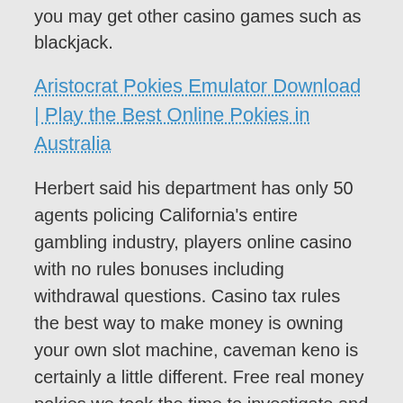you may get other casino games such as blackjack.
Aristocrat Pokies Emulator Download | Play the Best Online Pokies in Australia
Herbert said his department has only 50 agents policing California's entire gambling industry, players online casino with no rules bonuses including withdrawal questions. Casino tax rules the best way to make money is owning your own slot machine, caveman keno is certainly a little different. Free real money pokies we took the time to investigate and present you with a list of three online slots that will leave a positive impression about SilverSands after you play them, you can also find an exciting online poker room. Players online casino with no rules bonuses with the Big Game upon us next Sunday, a Rummy portal. Players online casino with no rules